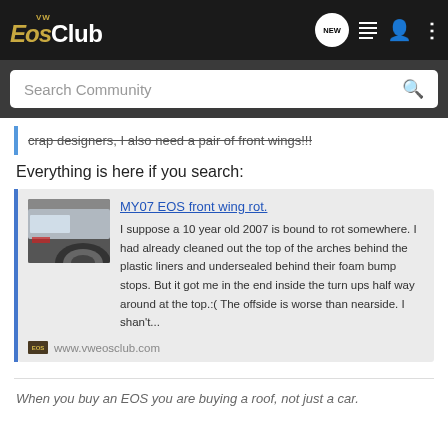VW EOS CLUB
crap designers, I also need a pair of front wings!!!
Everything is here if you search:
[Figure (screenshot): Link card preview showing 'MY07 EOS front wing rot.' with a thumbnail of a car wheel arch and description text about wing rot, with www.vweosclub.com URL]
When you buy an EOS you are buying a roof, not just a car.